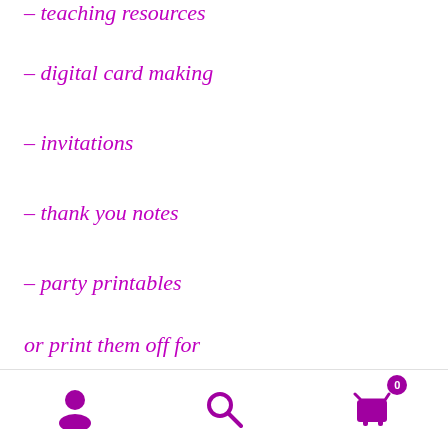– teaching resources
– digital card making
– invitations
– thank you notes
– party printables
or print them off for
– card making